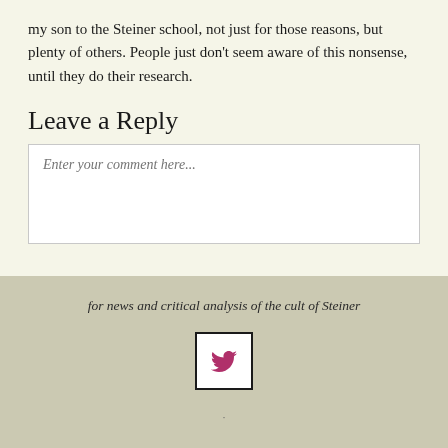my son to the Steiner school, not just for those reasons, but plenty of others. People just don't seem aware of this nonsense, until they do their research.
Leave a Reply
Enter your comment here...
for news and critical analysis of the cult of Steiner
[Figure (logo): Twitter bird icon in a white square with black border]
·